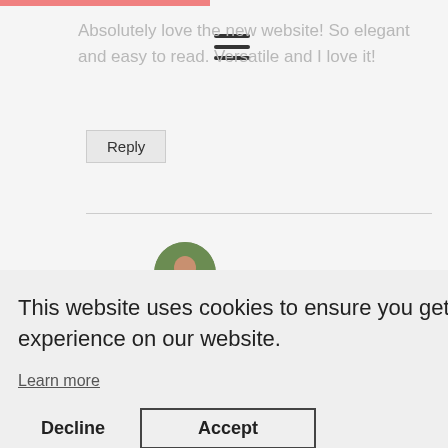Absolutely love the new website! So elegant and easy to read. Versatile and I love it!
Reply
[Figure (screenshot): Cookie consent popup dialog with close X button, message 'This website uses cookies to ensure you get the best experience on our website.', a 'Learn more' link, and two buttons: 'Decline' and 'Accept']
This website uses cookies to ensure you get the best experience on our website.
Learn more
Decline
Accept